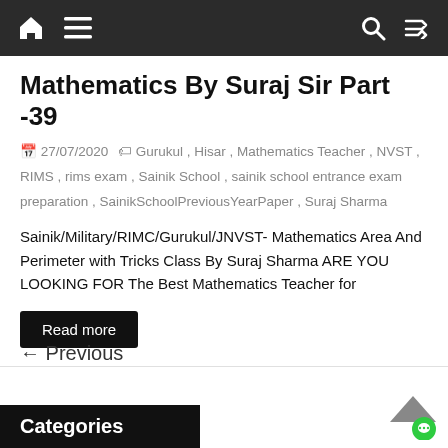Navigation bar with home, menu, search, and shuffle icons
Mathematics By Suraj Sir Part -39
27/07/2020   Gurukul , Hisar , Mathematics Teacher , NVST , RIMS , rims exam , Sainik School , sainik school entrance exam preparation , SainikSchoolPreviousYearPaper , Suraj Sharma
Sainik/Military/RIMC/Gurukul/JNVST- Mathematics Area And Perimeter with Tricks Class By Suraj Sharma ARE YOU LOOKING FOR The Best Mathematics Teacher for
Read more
← Previous
Categories